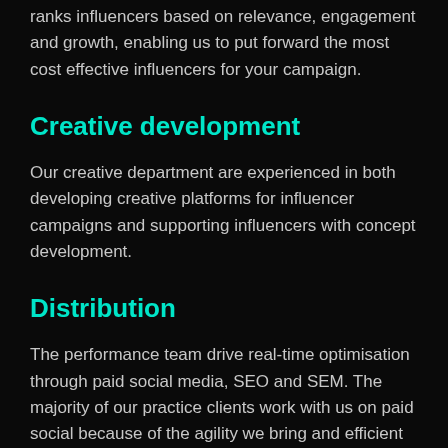a campaign. Our proprietary algorithm ranks influencers based on relevance, engagement and growth, enabling us to put forward the most cost effective influencers for your campaign.
Creative development
Our creative department are experienced in both developing creative platforms for influencer campaigns and supporting influencers with concept development.
Distribution
The performance team drive real-time optimisation through paid social media, SEO and SEM. The majority of our practice clients work with us on paid social because of the agility we bring and efficient results we deliver.